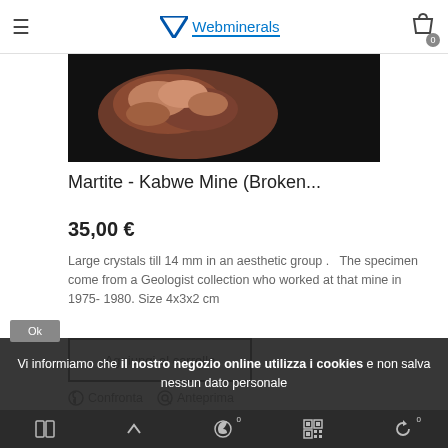Webminerals
[Figure (photo): Close-up photo of Martite mineral specimen showing reddish-brown crystals on black background]
Martite - Kabwe Mine (Broken...
35,00 €
Large crystals till 14 mm in an aesthetic group .   The specimen come from a Geologist collection who worked at that mine in 1975- 1980. Size 4x3x2 cm
Aggiungi al carrello
Confronta  Anteprima
Vi informiamo che il nostro negozio online utilizza i cookies e non salva nessun dato personale
Ok